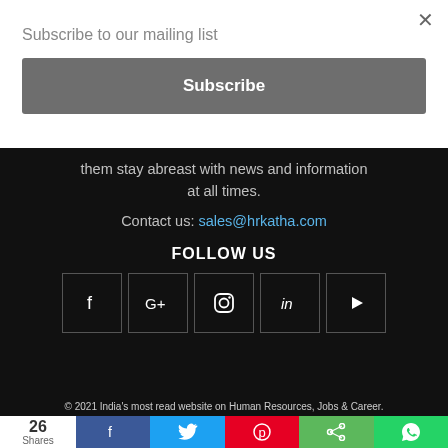Subscribe to our mailing list
Subscribe
them stay abreast with news and information at all times.
Contact us: sales@hrkatha.com
FOLLOW US
[Figure (infographic): Social media icons: Facebook, Google+, Instagram, LinkedIn, YouTube]
© 2021 India's most read website on Human Resources, Jobs & Career.
26 Shares — share bar with Facebook, Twitter, Pinterest, Share, WhatsApp buttons